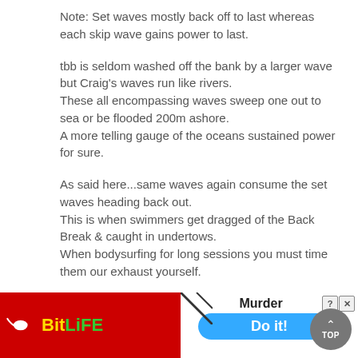Note: Set waves mostly back off to last whereas each skip wave gains power to last.
tbb is seldom washed off the bank by a larger wave but Craig's waves run like rivers.
These all encompassing waves sweep one out to sea or be flooded 200m ashore.
A more telling gauge of the oceans sustained power for sure.
As said here...same waves again consume the set waves heading back out.
This is when swimmers get dragged of the Back Break & caught in undertows.
When bodysurfing for long sessions you must time them our exhaust yourself.
Note: Craig's waves carry far greater volume & force hidden beneath.
Sim[truncated by ad] mas[truncated by ad]
[Figure (screenshot): BitLife advertisement overlay at the bottom of the page, with a red BitLife logo section on the left and a Murder themed ad on the right with a 'Do it!' blue button. A grey TOP button is visible in the bottom right corner.]